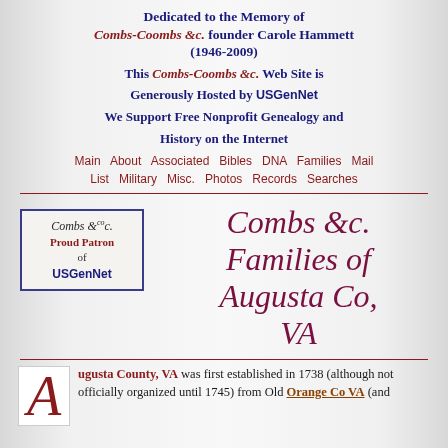Dedicated to the Memory of Combs-Coombs &c. founder Carole Hammett (1946-2009) This Combs-Coombs &c. Web Site is Generously Hosted by USGenNet We Support Free Nonprofit Genealogy and History on the Internet
Main   About   Associated   Bibles   DNA   Families   Mail List   Military   Misc.   Photos   Records   Searches
[Figure (logo): Combs &c. Proud Patron of USGenNet logo box with border]
Combs &c. Families of Augusta Co, VA
Augusta County, VA was first established in 1738 (although not officially organized until 1745) from Old Orange Co VA (and ...